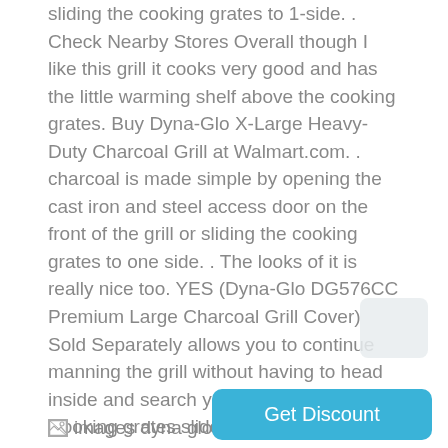sliding the cooking grates to 1-side. . Check Nearby Stores Overall though I like this grill it cooks very good and has the little warming shelf above the cooking grates. Buy Dyna-Glo X-Large Heavy-Duty Charcoal Grill at Walmart.com. . charcoal is made simple by opening the cast iron and steel access door on the front of the grill or sliding the cooking grates to one side. . The looks of it is really nice too. YES (Dyna-Glo DG576CC Premium Large Charcoal Grill Cover) Sold Separately allows you to continue manning the grill without having to head inside and search your utensil drawer. . Cooking grates slide from side-to-side for additional access to charcoal. They turned out just as good as they did on my old grill! Find Dyna-Glo Heavy-Duty Charcoal Grill, DGN486DNC-D in the Pellet . the steel access door on the front of the grill or sliding the cooking grates to one side.
[Figure (other): Broken image icon followed by text 'images dyna glo charcoal grill']
Get Discount